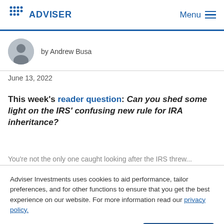ADVISER | Menu
by Andrew Busa
June 13, 2022
This week's reader question: Can you shed some light on the IRS' confusing new rule for IRA inheritance?
You're not the only one caught looking after the IRS threw...
Adviser Investments uses cookies to aid performance, tailor preferences, and for other functions to ensure that you get the best experience on our website. For more information read our privacy policy.
Adjust Settings | I Understand